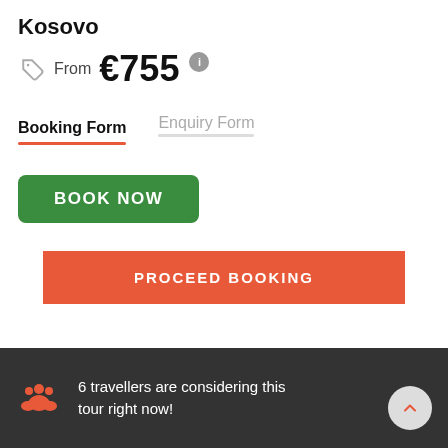Kosovo
From €755
Booking Form
Enquiry Form
BOOK NOW
PROCEED BOOKING
6 travellers are considering this tour right now!